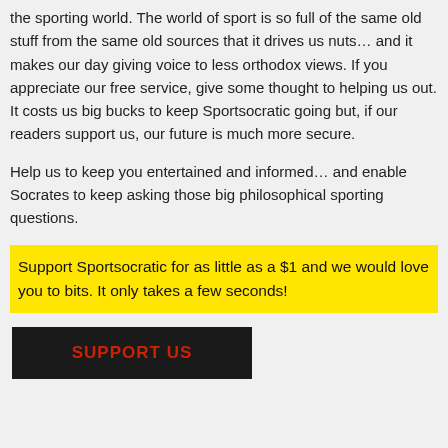the sporting world. The world of sport is so full of the same old stuff from the same old sources that it drives us nuts… and it makes our day giving voice to less orthodox views. If you appreciate our free service, give some thought to helping us out. It costs us big bucks to keep Sportsocratic going but, if our readers support us, our future is much more secure.
Help us to keep you entertained and informed… and enable Socrates to keep asking those big philosophical sporting questions.
Support Sportsocratic for as little as a $1 and we would love you to bits. It only takes a few seconds!
SUPPORT US